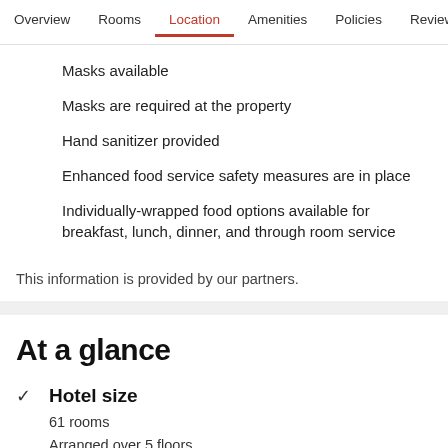Overview  Rooms  Location  Amenities  Policies  Reviews
Masks available
Masks are required at the property
Hand sanitizer provided
Enhanced food service safety measures are in place
Individually-wrapped food options available for breakfast, lunch, dinner, and through room service
This information is provided by our partners.
At a glance
Hotel size
61 rooms
Arranged over 5 floors
Arriving/leaving